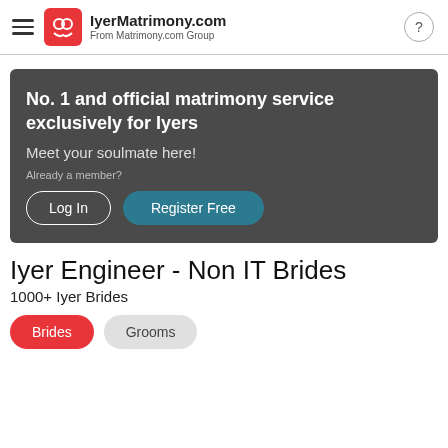IyerMatrimony.com — From Matrimony.com Group
[Figure (infographic): Dark grey banner with text 'No. 1 and official matrimony service exclusively for Iyers', 'Meet your soulmate here!', 'Already a member?', and two buttons: 'Log In' and 'Register Free']
Iyer Engineer - Non IT Brides
1000+ Iyer Brides
Brides
Grooms